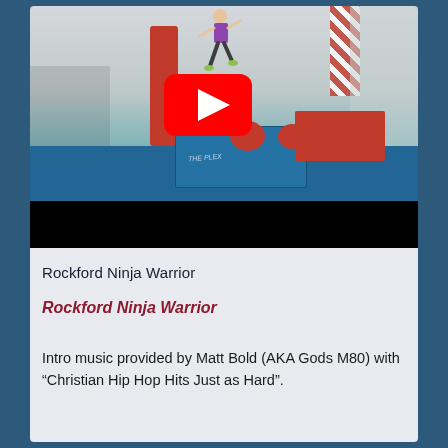[Figure (screenshot): YouTube video thumbnail showing a gymnast or ninja warrior athlete jumping over a red padded wall in a gymnasium with blue mats and equipment. A large YouTube play button (red rectangle with white triangle) is overlaid in the center. The bottom portion of the video player is a black bar.]
Rockford Ninja Warrior
Rockford Ninja Warrior
Intro music provided by Matt Bold (AKA Gods M80) with “Christian Hip Hop Hits Just as Hard”.